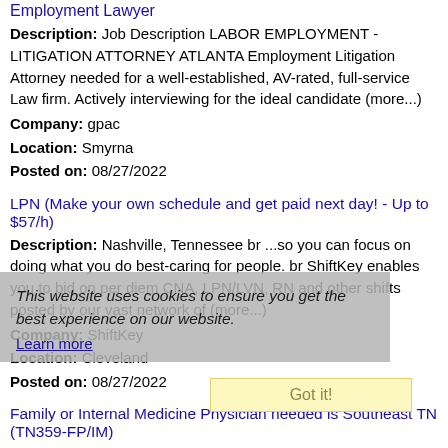Employment Lawyer
Description: Job Description LABOR EMPLOYMENT - LITIGATION ATTORNEY ATLANTA Employment Litigation Attorney needed for a well-established, AV-rated, full-service Law firm. Actively interviewing for the ideal candidate (more...)
Company: gpac
Location: Smyrna
Posted on: 08/27/2022
LPN (Make your own schedule and get paid next day! - Up to $57/h)
Description: Nashville, Tennessee br ...so you can focus on doing what you do best-caring for people. br ShiftKey enables you to bid on per diem CNA, LPN/LVN, RN and other shifts posted by our vast network of (more...)
Company: ShiftKey
Location: Cleveland
Posted on: 08/27/2022
Family or Internal Medicine Physician needed is Southeast TN (TN359-FP/IM)
Description: Physician/MD qualifications required Family Medicine or Internal
Company: Open Door Unlimited, Inc.